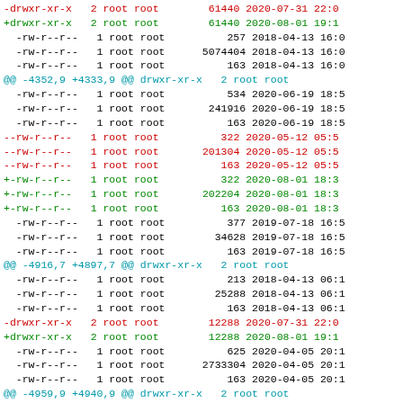Diff output showing file permission changes with timestamps, including hunk headers and red/green additions/deletions